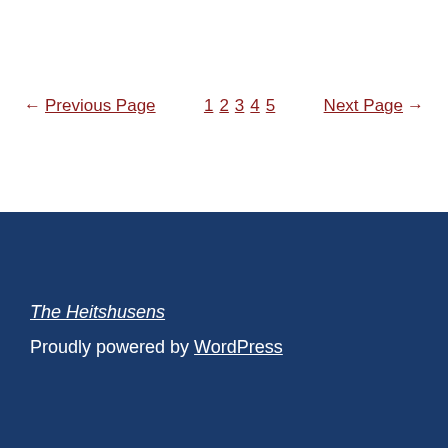← Previous Page   1 2 3 4 5   Next Page →
The Heitshusens
Proudly powered by WordPress